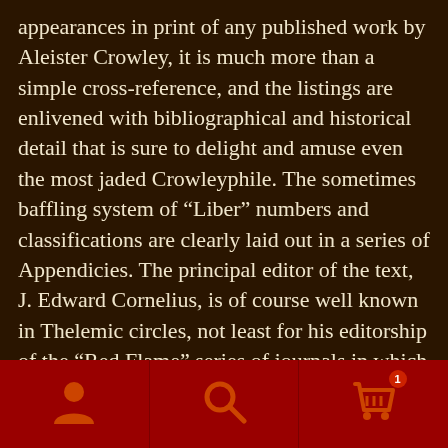appearances in print of any published work by Aleister Crowley, it is much more than a simple cross-reference, and the listings are enlivened with bibliographical and historical detail that is sure to delight and amuse even the most jaded Crowleyphile. The sometimes baffling system of “Liber” numbers and classifications are clearly laid out in a series of Appendicies. The principal editor of the text, J. Edward Cornelius, is of course well known in Thelemic circles, not least for his editorship of the “Red Flame” series of journals in which “The Aleister Crowley Desk Reference” first appeared. Contributing editor, Andrew Drylie, is also an authority on Crowley’s works and was co-author of the “Crowley Cross-Index” (1976), the
[Figure (other): Navigation bar with three icons: person/account icon on left, search magnifying glass icon in center, shopping cart icon with badge showing number 1 on right. Dark red background.]